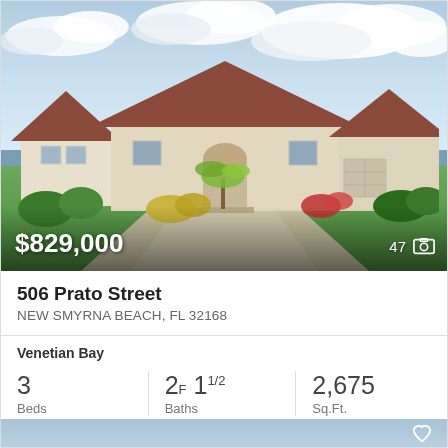[Figure (photo): Exterior photo of a large Florida-style single-story home with terracotta/brown roof, cream stucco walls, three-car garage, wide driveway, palm trees and tropical landscaping, cloudy sky background.]
$829,000
47
506 Prato Street
NEW SMYRNA BEACH, FL 32168
Venetian Bay
3
Beds
2F  11/2
Baths
2,675
Sq.Ft.
MLS #: 1098509
[Figure (photo): Partial view of a second property listing card peeking from the bottom of the page with a blue sky background and a heart/save icon.]